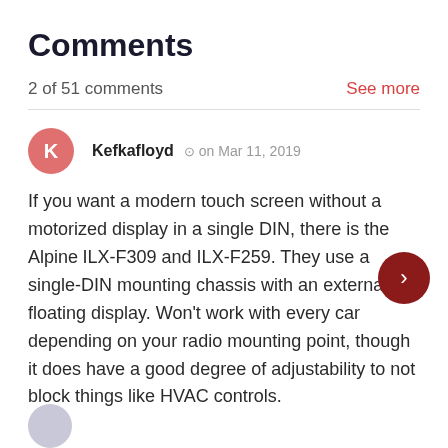Comments
2 of 51 comments
See more
Kefkafloyd   on Mar 11, 2019
If you want a modern touch screen without a motorized display in a single DIN, there is the Alpine ILX-F309 and ILX-F259. They use a single-DIN mounting chassis with an external floating display. Won't work with every car depending on your radio mounting point, though it does have a good degree of adjustability to not block things like HVAC controls.